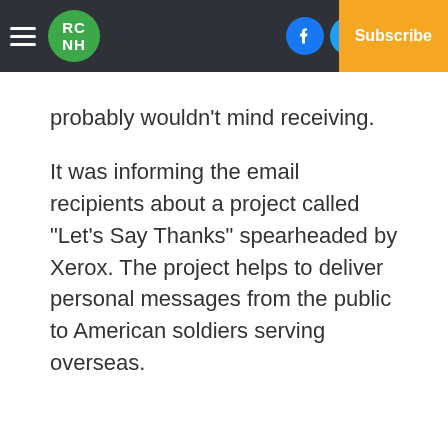RC NH | Facebook | Twitter | Log In | Subscribe
probably wouldn't mind receiving.
It was informing the email recipients about a project called “Let’s Say Thanks” spearheaded by Xerox. The project helps to deliver personal messages from the public to American soldiers serving overseas.